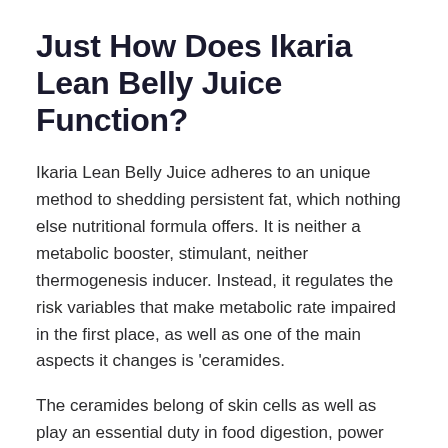Just How Does Ikaria Lean Belly Juice Function?
Ikaria Lean Belly Juice adheres to an unique method to shedding persistent fat, which nothing else nutritional formula offers. It is neither a metabolic booster, stimulant, neither thermogenesis inducer. Instead, it regulates the risk variables that make metabolic rate impaired in the first place, as well as one of the main aspects it changes is ‘ceramides.
The ceramides belong of skin cells as well as play an essential duty in food digestion, power production, and also fat accumulation. So obesity can be regulated by altering the ceramide degrees